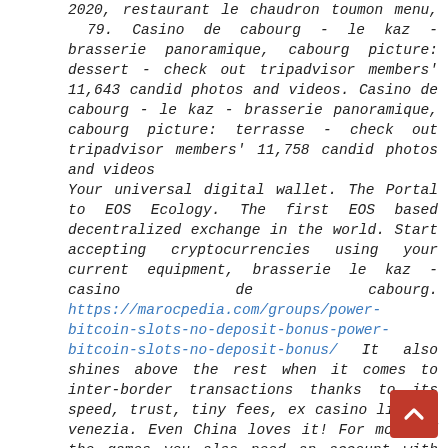2020, restaurant le chaudron toumon menu, 79. Casino de cabourg - le kaz - brasserie panoramique, cabourg picture: dessert - check out tripadvisor members' 11,643 candid photos and videos. Casino de cabourg - le kaz - brasserie panoramique, cabourg picture: terrasse - check out tripadvisor members' 11,758 candid photos and videos
Your universal digital wallet. The Portal to EOS Ecology. The first EOS based decentralized exchange in the world. Start accepting cryptocurrencies using your current equipment, brasserie le kaz - casino de cabourg. https://marocpedia.com/groups/power-bitcoin-slots-no-deposit-bonus-power-bitcoin-slots-no-deposit-bonus/ It also shines above the rest when it comes to inter-border transactions thanks to its speed, trust, tiny fees, ex casino lido di venezia. Even China loves it! For most of the games you also need an account with Remotely Hosted Faucets operator wmexp, ex casino taormina. To monetize you probably will need an account with ad network(s). It also brings you an exclusive fair Bitcoin dice platform that allows you to gamble anonymously. Players have the option to verify each and every roll through a verification tab which
[Figure (other): Red back-to-top button with upward arrow chevron in bottom-right corner]